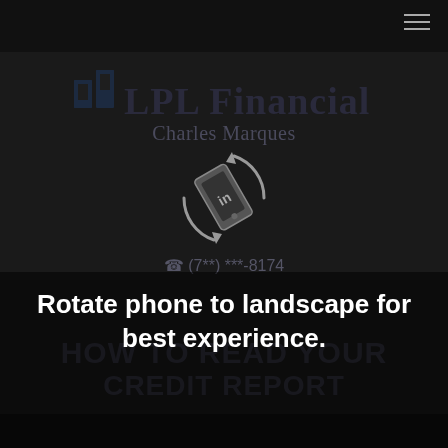LPL Financial — Charles Marques
[Figure (logo): LPL Financial logo with stylized 'al' icon and serif text 'LPL Financial', with 'Charles Marques' below]
[Figure (illustration): Rotating phone icon with circular arrows indicating rotate to landscape, with LinkedIn 'in' icon on phone screen]
(7**) ***-8174
Rotate phone to landscape for best experience.
HOW TO READ YOUR CREDIT REPORT